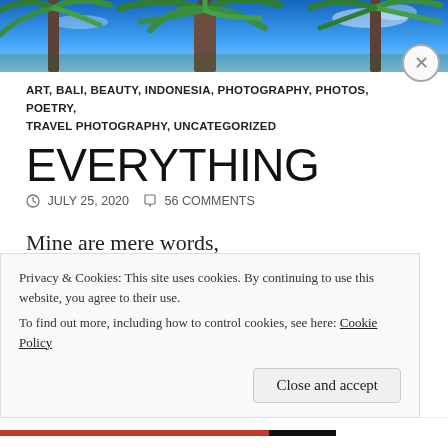[Figure (photo): Tropical palm trees against a blue sky, header banner image]
ART, BALI, BEAUTY, INDONESIA, PHOTOGRAPHY, PHOTOS, POETRY, TRAVEL PHOTOGRAPHY, UNCATEGORIZED
EVERYTHING
JULY 25, 2020   56 COMMENTS
Mine are mere words,
yours emotions true
What this world be?
Everything, without me,
Nothing, without you!
Privacy & Cookies: This site uses cookies. By continuing to use this website, you agree to their use.
To find out more, including how to control cookies, see here: Cookie Policy